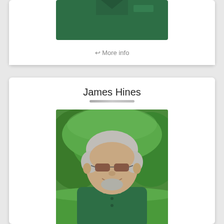[Figure (photo): Partial view of a person wearing a dark green polo shirt, cropped at top of page]
↩ More info
James Hines
[Figure (photo): Portrait photo of James Hines, an older man with gray hair wearing sunglasses and a dark green polo shirt, smiling, with green trees in background]